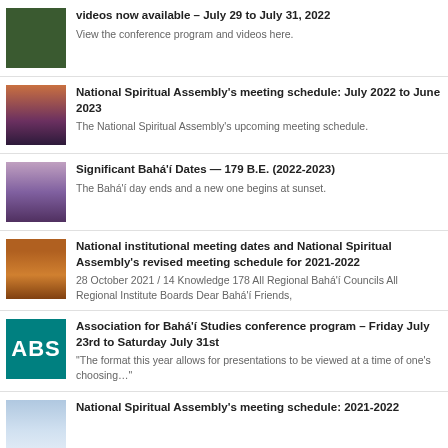videos now available – July 29 to July 31, 2022
View the conference program and videos here.
National Spiritual Assembly's meeting schedule: July 2022 to June 2023
The National Spiritual Assembly's upcoming meeting schedule.
Significant Bahá'í Dates — 179 B.E. (2022-2023)
The Bahá'í day ends and a new one begins at sunset.
National institutional meeting dates and National Spiritual Assembly's revised meeting schedule for 2021-2022
28 October 2021 / 14 Knowledge 178 All Regional Bahá'í Councils All Regional Institute Boards Dear Bahá'í Friends,
Association for Bahá'í Studies conference program – Friday July 23rd to Saturday July 31st
"The format this year allows for presentations to be viewed at a time of one's choosing..."
National Spiritual Assembly's meeting schedule: 2021-2022